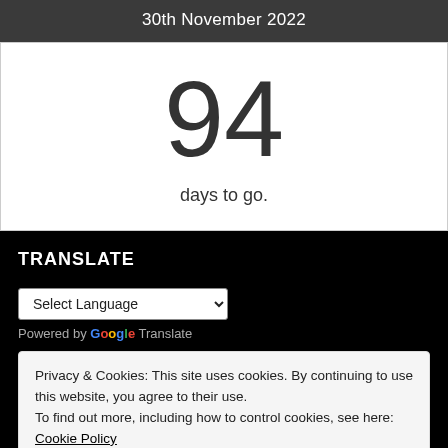30th November 2022
94
days to go.
TRANSLATE
Select Language
Powered by Google Translate
Privacy & Cookies: This site uses cookies. By continuing to use this website, you agree to their use. To find out more, including how to control cookies, see here: Cookie Policy
Close and accept